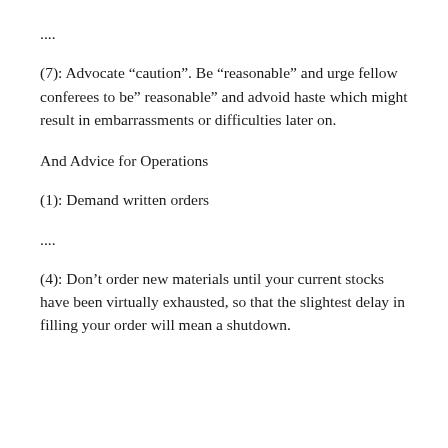....
(7): Advocate “caution”. Be “reasonable” and urge fellow conferees to be” reasonable” and advoid haste which might result in embarrassments or difficulties later on.
And Advice for Operations
(1): Demand written orders
....
(4): Don’t order new materials until your current stocks have been virtually exhausted, so that the slightest delay in filling your order will mean a shutdown.